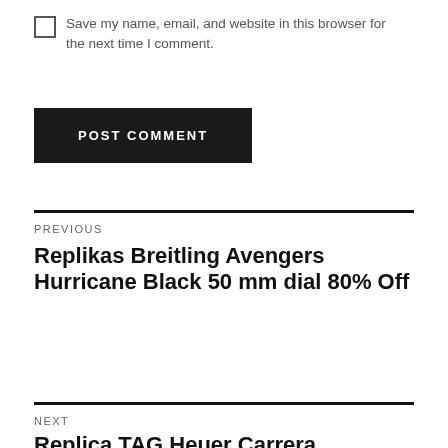Save my name, email, and website in this browser for the next time I comment.
POST COMMENT
PREVIOUS
Replikas Breitling Avengers Hurricane Black 50 mm dial 80% Off
NEXT
Replica TAG Heuer Carrera